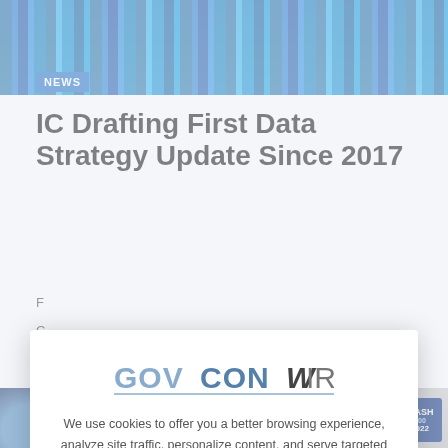[Figure (photo): Hero banner showing colorful books/binders on shelves with blue tones]
NEWS
IC Drafting First Data Strategy Update Since 2017
F... C... T...
[Figure (screenshot): Cookie consent modal overlay on GovConWire website. Logo reads GOVCONWIRE. Modal text: We use cookies to offer you a better browsing experience, analyze site traffic, personalize content, and serve targeted advertisements. Read about how we use cookies and how you can control them on our Privacy Policy. If you continue to use this site, you consent to our use of cookies. Close button X shown below.]
[Figure (photo): Bottom strip showing multiple thumbnail images and a Wash100 2022 badge]